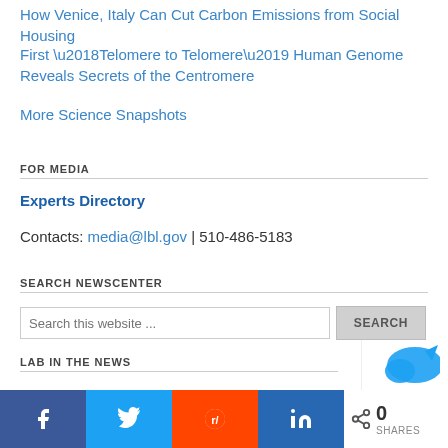How Venice, Italy Can Cut Carbon Emissions from Social Housing
First ‘Telomere to Telomere’ Human Genome Reveals Secrets of the Centromere
More Science Snapshots
FOR MEDIA
Experts Directory
Contacts: media@lbl.gov | 510-486-5183
SEARCH NEWSCENTER
LAB IN THE NEWS
[Figure (screenshot): Social sharing bar with Facebook, Twitter, Reddit, LinkedIn buttons and a shares count of 0]